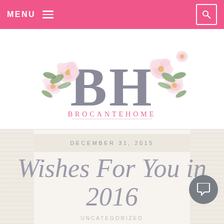MENU
[Figure (logo): BrocanteHome blog logo with floral design — large grey BH letters surrounded by pink roses and green leaves, with BROCANTEHOME spelled below in pink serif letters]
DECEMBER 31, 2015
Wishes For You in 2016
UNCATEGORIZED